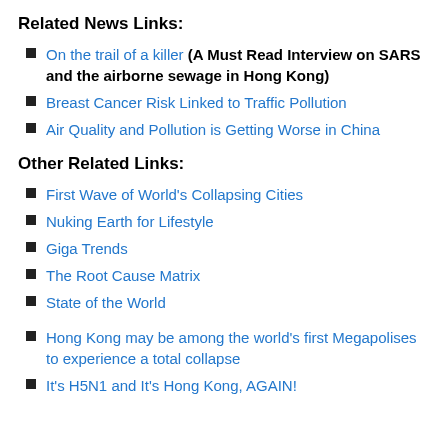Related News Links:
On the trail of a killer (A Must Read Interview on SARS and the airborne sewage in Hong Kong)
Breast Cancer Risk Linked to Traffic Pollution
Air Quality and Pollution is Getting Worse in China
Other Related Links:
First Wave of World's Collapsing Cities
Nuking Earth for Lifestyle
Giga Trends
The Root Cause Matrix
State of the World
Hong Kong may be among the world's first Megapolises to experience a total collapse
It's H5N1 and It's Hong Kong, AGAIN!